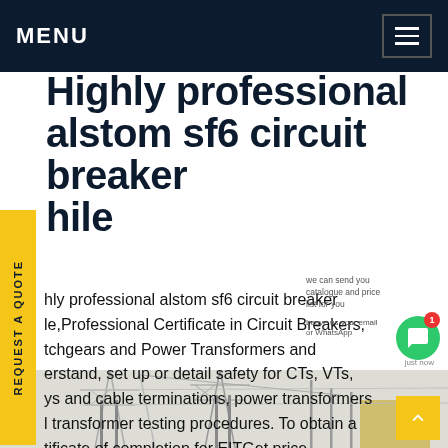MENU
Highly professional alstom sf6 circuit breaker hile
hly professional alstom sf6 circuit breaker le,Professional Certificate in Circuit Breakers, tchgears and Power Transformers and erstand, set up or detail safety for CTs, VTs, ys and cable terminations, power transformers l transformer testing procedures. To obtain a tificate of completion for EITGet price
we can send you catalogue and price list for you
Leave us your email or WhatsApp
[Figure (photo): Industrial electrical transmission towers and infrastructure, sketch/blueprint style image with cranes and electrical pylons]
REQUEST A QUOTE